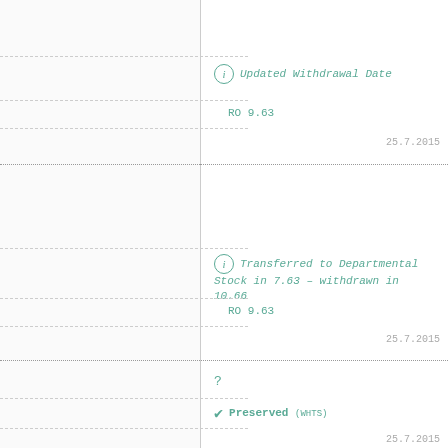Updated Withdrawal Date
RO 9.63
25.7.2015
Transferred to Departmental Stock in 7.63 – withdrawn in 10.66
RO 9.63
25.7.2015
?
Preserved (WHTS)
25.7.2015